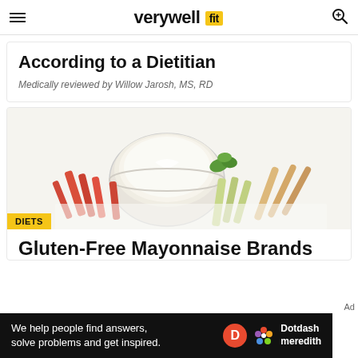verywell fit
According to a Dietitian
Medically reviewed by Willow Jarosh, MS, RD
[Figure (photo): A white bowl of mayonnaise surrounded by vegetable sticks (carrots, celery) and breadsticks on a white background, with a DIETS category tag overlay]
Gluten-Free Mayonnaise Brands
We help people find answers, solve problems and get inspired.
Ad